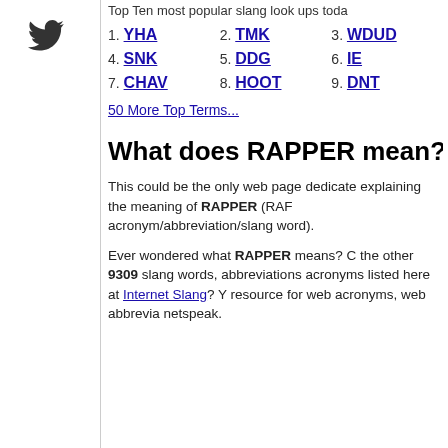Top Ten most popular slang look ups toda
1. YHA  2. TMK  3. WDUD
4. SNK  5. DDG  6. IE
7. CHAV  8. HOOT  9. DNT
50 More Top Terms...
What does RAPPER mean?
This could be the only web page dedicate explaining the meaning of RAPPER (RAF acronym/abbreviation/slang word).
Ever wondered what RAPPER means? C the other 9309 slang words, abbreviations acronyms listed here at Internet Slang? Y resource for web acronyms, web abbrevia netspeak.